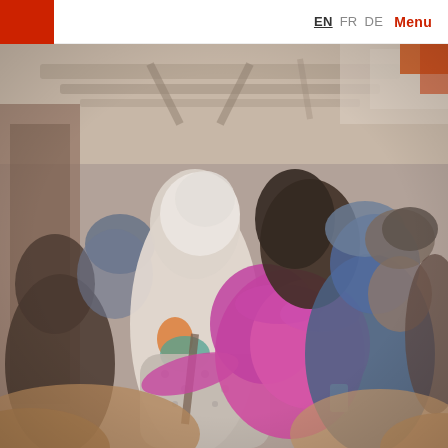EN FR DE Menu
[Figure (photo): A crowd of people, with a child in a bright pink/magenta jacket being carried on someone's shoulders or back. The adult carrier wears a white hooded sweatshirt and a patterned grey sweater. Other people in winter clothing surround them in what appears to be an outdoor covered area or transit station.]